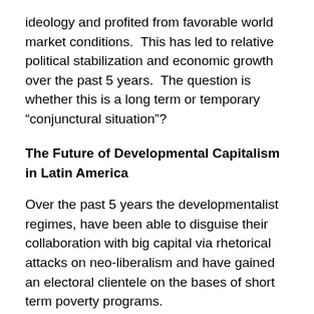ideology and profited from favorable world market conditions.  This has led to relative political stabilization and economic growth over the past 5 years.  The question is whether this is a long term or temporary “conjunctural situation”?
The Future of Developmental Capitalism in Latin America
Over the past 5 years the developmentalist regimes, have been able to disguise their collaboration with big capital via rhetorical attacks on neo-liberalism and have gained an electoral clientele on the bases of short term poverty programs.
There are definite signs that the “progressive” identity is beginning to lose its attraction for major sectors of the